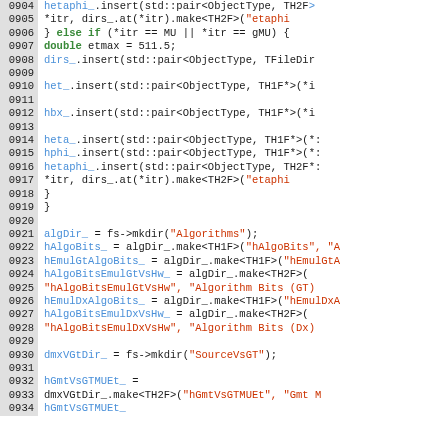[Figure (screenshot): Source code listing lines 0904-0934 showing C++ code with line numbers on gray background, colored syntax highlighting: blue for identifiers, green for keywords, red for string literals]